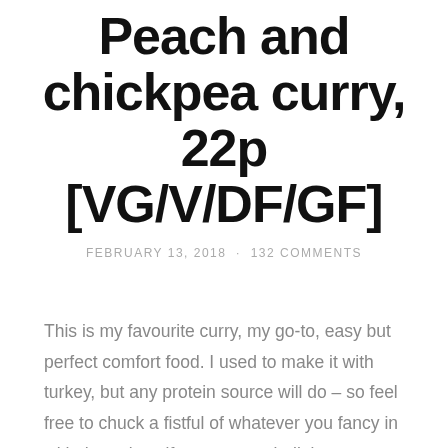Peach and chickpea curry, 22p [VG/V/DF/GF]
FEBRUARY 13, 2018 · 132 COMMENTS
This is my favourite curry, my go-to, easy but perfect comfort food. I used to make it with turkey, but any protein source will do – so feel free to chuck a fistful of whatever you fancy in with the onions if you want to bulk it out or extend it.